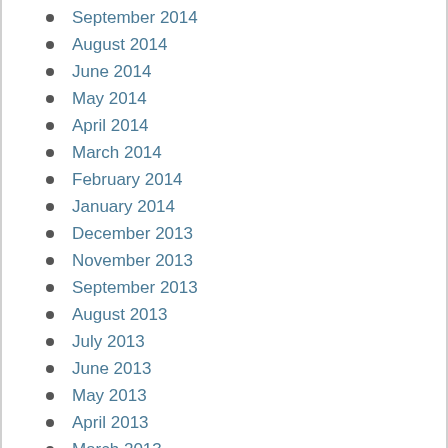September 2014
August 2014
June 2014
May 2014
April 2014
March 2014
February 2014
January 2014
December 2013
November 2013
September 2013
August 2013
July 2013
June 2013
May 2013
April 2013
March 2013
February 2013
January 2013